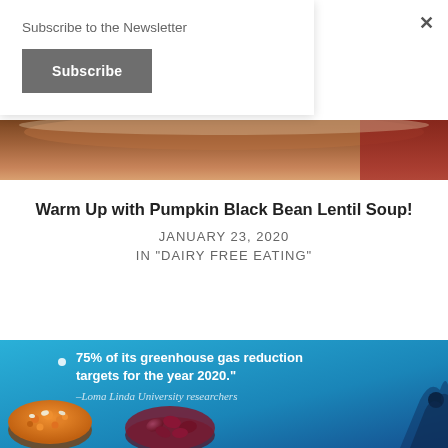Subscribe to the Newsletter
Subscribe
×
[Figure (photo): Partial view of food/soup image, showing brown tones at the top of the page]
Warm Up with Pumpkin Black Bean Lentil Soup!
JANUARY 23, 2020
IN "DAIRY FREE EATING"
[Figure (photo): Advertisement on blue background showing text '75% of its greenhouse gas reduction targets for the year 2020.' attributed to Loma Linda University researchers, with bowls of legumes/beans visible at the bottom]